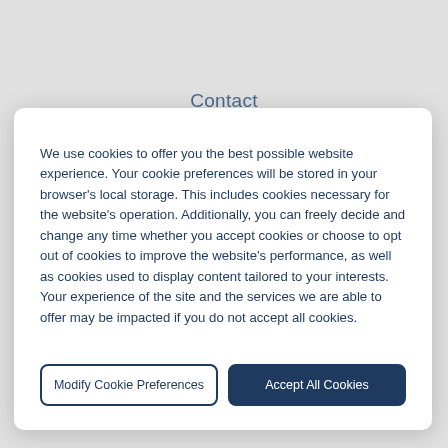Contact
We use cookies to offer you the best possible website experience. Your cookie preferences will be stored in your browser's local storage. This includes cookies necessary for the website's operation. Additionally, you can freely decide and change any time whether you accept cookies or choose to opt out of cookies to improve the website's performance, as well as cookies used to display content tailored to your interests. Your experience of the site and the services we are able to offer may be impacted if you do not accept all cookies.
Modify Cookie Preferences
Accept All Cookies